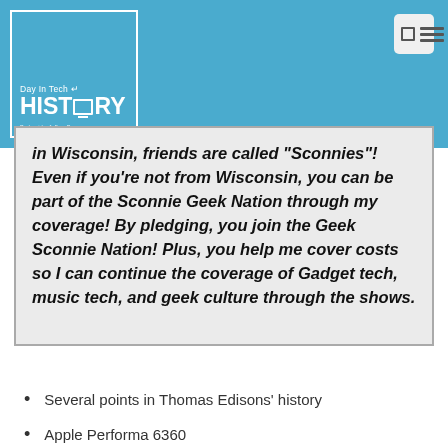Day In Tech HISTORY — Podcast by Jeffrey Powers
in Wisconsin, friends are called "Sconnies"! Even if you're not from Wisconsin, you can be part of the Sconnie Geek Nation through my coverage! By pledging, you join the Geek Sconnie Nation! Plus, you help me cover costs so I can continue the coverage of Gadget tech, music tech, and geek culture through the shows.
Several points in Thomas Edisons' history
Apple Performa 6360
VidaLinux